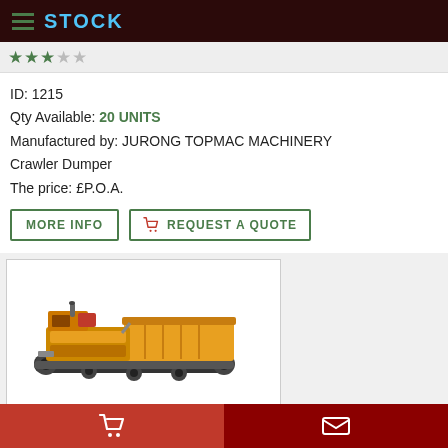STOCK
ID: 1215
Qty Available: 20 UNITS
Manufactured by: JURONG TOPMAC MACHINERY
Crawler Dumper
The price: £P.O.A.
MORE INFO | REQUEST A QUOTE
[Figure (photo): Crawler Dumper machine - orange/yellow tracked dumper vehicle, side view, manufactured by Jurong Topmac Machinery]
Cart icon | Envelope/Mail icon